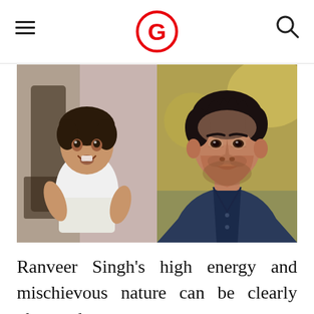G (Gossip/Entertainment site logo)
[Figure (photo): Side-by-side comparison photo: left side shows a young child (toddler/young boy) smiling in a white shirt, right side shows a handsome adult man with dark hair wearing a navy blue v-neck shirt, identified as Ranveer Singh.]
Ranveer Singh's high energy and mischievous nature can be clearly observed